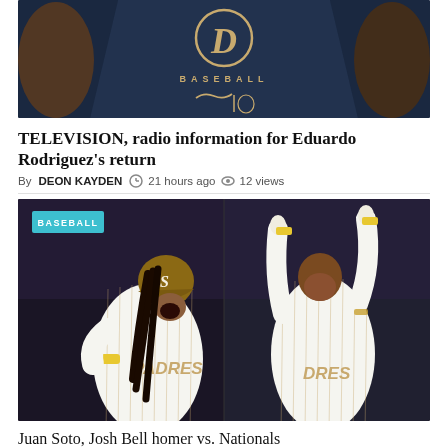[Figure (photo): Close-up photo of a person wearing a Detroit Tigers navy baseball shirt with the iconic Old English D logo and BASEBALL text with Nike swoosh and MLB logo]
TELEVISION, radio information for Eduardo Rodriguez’s return
By DEON KAYDEN  21 hours ago  12 views
[Figure (photo): Side-by-side photo of two San Diego Padres players in white pinstripe uniforms; left player is celebrating with mouth open wearing a batting helmet, right player is pointing upward with both hands raised. A BASEBALL badge label is in the top left corner.]
Juan Soto, Josh Bell homer vs. Nationals